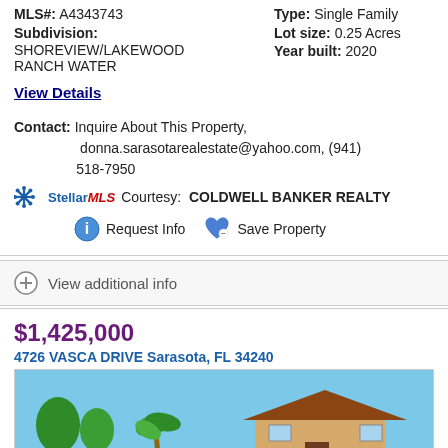MLS#: A4343743   Type: Single Family
Subdivision: SHOREVIEW/LAKEWOOD RANCH WATER   Lot size: 0.25 Acres   Year built: 2020
View Details
Contact: Inquire About This Property, donna.sarasotarealestate@yahoo.com, (941) 518-7950
StellarMLS Courtesy: COLDWELL BANKER REALTY
Request Info   Save Property
View additional info
$1,425,000
4726 VASCA DRIVE Sarasota, FL 34240
[Figure (photo): Exterior photo of a house with blue sky and palm trees]